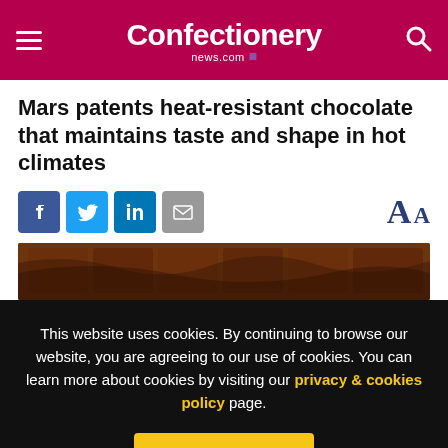Confectionery news.com
Mars patents heat-resistant chocolate that maintains taste and shape in hot climates
[Figure (photo): Close-up photograph of dark chocolate pieces with flowing melted chocolate]
This website uses cookies. By continuing to browse our website, you are agreeing to our use of cookies. You can learn more about cookies by visiting our privacy & cookies policy page.